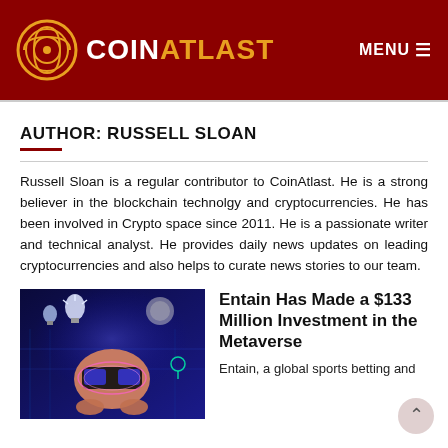COINATLAST  MENU
AUTHOR: RUSSELL SLOAN
Russell Sloan is a regular contributor to CoinAtlast. He is a strong believer in the blockchain technolgy and cryptocurrencies. He has been involved in Crypto space since 2011. He is a passionate writer and technical analyst. He provides daily news updates on leading cryptocurrencies and also helps to curate news stories to our team.
[Figure (illustration): Digital illustration of a person wearing VR headset with glowing light bulbs and futuristic technology graphics in blue tones]
Entain Has Made a $133 Million Investment in the Metaverse
Entain, a global sports betting and